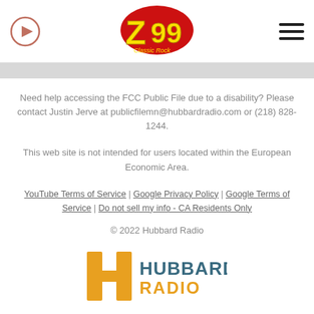Z99 Classic Rock – play button and menu icon
Need help accessing the FCC Public File due to a disability? Please contact Justin Jerve at publicfilemn@hubbardradio.com or (218) 828-1244.
This web site is not intended for users located within the European Economic Area.
YouTube Terms of Service | Google Privacy Policy | Google Terms of Service | Do not sell my info - CA Residents Only
© 2022 Hubbard Radio
[Figure (logo): Hubbard Radio logo with orange H icon and teal/orange text]